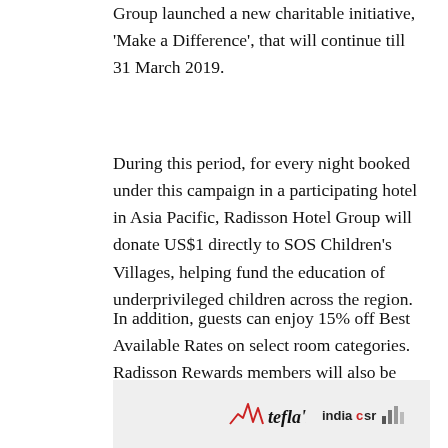Group launched a new charitable initiative, 'Make a Difference', that will continue till 31 March 2019.
During this period, for every night booked under this campaign in a participating hotel in Asia Pacific, Radisson Hotel Group will donate US$1 directly to SOS Children's Villages, helping fund the education of underprivileged children across the region.
In addition, guests can enjoy 15% off Best Available Rates on select room categories. Radisson Rewards members will also be presented with an additional 5% off and earn 1,000 Bonus Points for each stay.
[Figure (logo): Footer bar with Tefla's logo and indiacsr logo on a light grey background.]